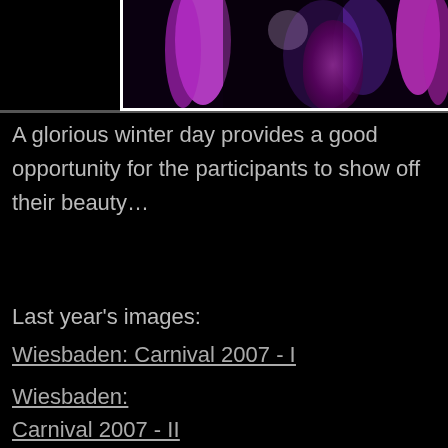[Figure (photo): Carnival participant with purple braided hair and purple outfit, cropped photo at top of page]
A glorious winter day provides a good opportunity for the participants to show off their beauty…
Last year's images:
Wiesbaden: Carnival 2007 - I
Wiesbaden: Carnival 2007 - II
Photos from the Carnival parade 2006
and
http://www.travelphoto.net/a-